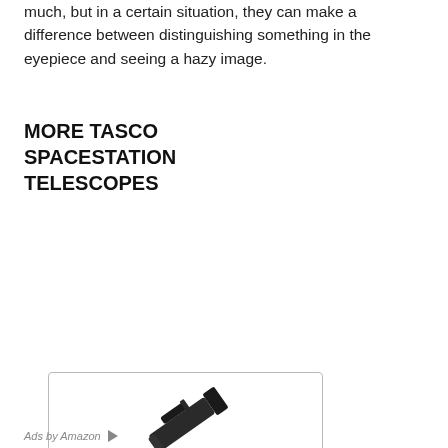much, but in a certain situation, they can make a difference between distinguishing something in the eyepiece and seeing a hazy image.
MORE TASCO SPACESTATION TELESCOPES
[Figure (photo): Product card showing a Tasco Spacestation refractor telescope on a tripod, with product title link and price $258.66]
TASCO 49070800 Spacestation(TM) 70AZ Refractor Telescope consu...
$258.66
Search Amazon | Go
Ads by Amazon